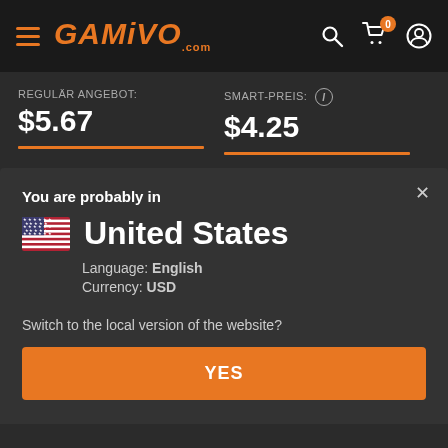[Figure (screenshot): GAMIVO.com website navigation bar with hamburger menu, orange GAMIVO logo, search, cart (badge: 0), and user icons on dark background]
REGULÄR ANGEBOT: $5.67
SMART-PREIS: $4.25
You are probably in
United States
Language: English
Currency: USD
Switch to the local version of the website?
YES